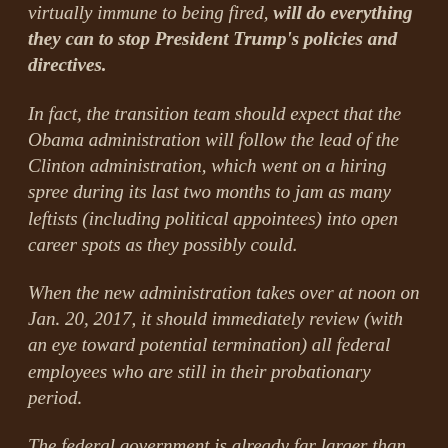virtually immune to being fired, will do everything they can to stop President Trump's policies and directives.
In fact, the transition team should expect that the Obama administration will follow the lead of the Clinton administration, which went on a hiring spree during its last two months to jam as many leftists (including political appointees) into open career spots as they possibly could.
When the new administration takes over at noon on Jan. 20, 2017, it should immediately review (with an eye toward potential termination) all federal employees who are still in their probationary period.
The federal government is already far larger than it should be, so there